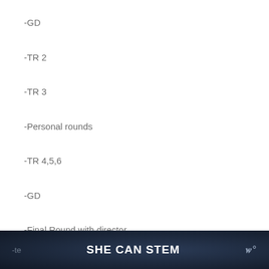-GD
-TR 2
-TR 3
-Personal rounds
-TR 4,5,6
-GD
-Final Round with director
-te   SHE CAN STEM   w°